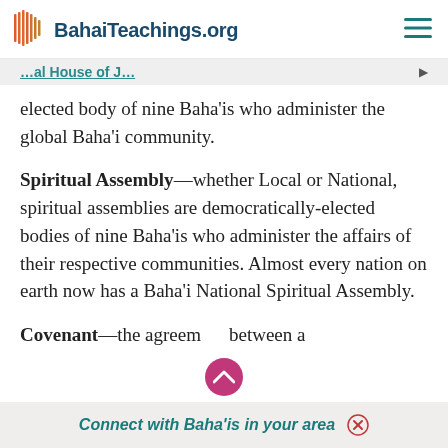BahaiTeachings.org
…al House of J… elected body of nine Baha'is who administer the global Baha'i community.
Spiritual Assembly—whether Local or National, spiritual assemblies are democratically-elected bodies of nine Baha'is who administer the affairs of their respective communities. Almost every nation on earth now has a Baha'i National Spiritual Assembly.
Covenant—the agreement between a
Connect with Baha'is in your area